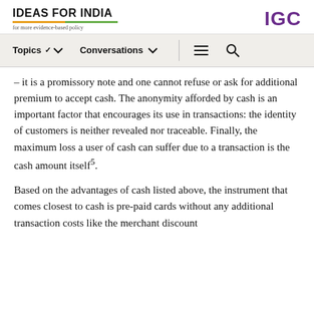IDEAS FOR INDIA — for more evidence-based policy | IGC
Topics  ∨   Conversations  ∨   ≡   🔍
– it is a promissory note and one cannot refuse or ask for additional premium to accept cash. The anonymity afforded by cash is an important factor that encourages its use in transactions: the identity of customers is neither revealed nor traceable. Finally, the maximum loss a user of cash can suffer due to a transaction is the cash amount itself⁵.
Based on the advantages of cash listed above, the instrument that comes closest to cash is pre-paid cards without any additional transaction costs like the merchant discount